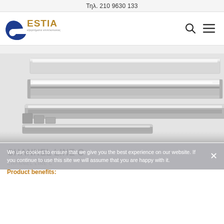Τηλ. 210 9630 133
[Figure (logo): ESTIA logo with blue spiral 'e' and gold text 'ESTIA' with subtitle 'εξαρτήματα επιπλοποιίας']
[Figure (photo): Product photo of aluminum channel profile LED strips (CHANNEL LINE C) showing multiple extruded aluminum profiles with diffuser covers on a white background]
We use cookies to ensure that we give you the best experience on our website. If you continue to use this site we will assume that you are happy with it.
CHANNEL LINE C
CHANNEL LINE C
Product benefits: